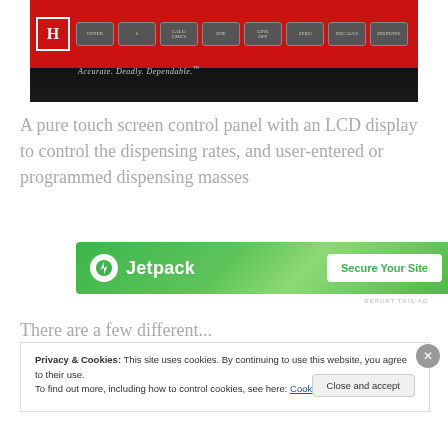[Figure (photo): Close-up photo of a red electronic control panel/device with buttons labeled ENTER, 0, CALC/CMCS, ENE, LINE OFF, ZERO, RECALLS, DISPENSE and the tagline 'Accurate. Deadly. Dependable.' on a dark background]
A pure touch screen control panel with an LCD display to control the dispensing rates, and user-entered or programmed dispensing masses
[Figure (other): Jetpack plugin advertisement banner with green background, Jetpack logo and 'Secure Your Site' button]
REPORT THIS AD
There are a few different...
Privacy & Cookies: This site uses cookies. By continuing to use this website, you agree to their use.
To find out more, including how to control cookies, see here: Cookie Policy
Close and accept